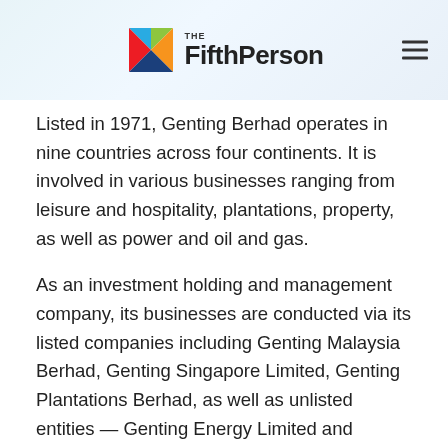The Fifth Person
Listed in 1971, Genting Berhad operates in nine countries across four continents. It is involved in various businesses ranging from leisure and hospitality, plantations, property, as well as power and oil and gas.
As an investment holding and management company, its businesses are conducted via its listed companies including Genting Malaysia Berhad, Genting Singapore Limited, Genting Plantations Berhad, as well as unlisted entities — Genting Energy Limited and Resorts World Las Vegas LLC.
Here are 10 things I learned from the 2019 Genting AGM:
1. Revenue increased 4.1% year-on-year to RM20.9 billion in 2018. In the last five years, revenue has grown at a compound